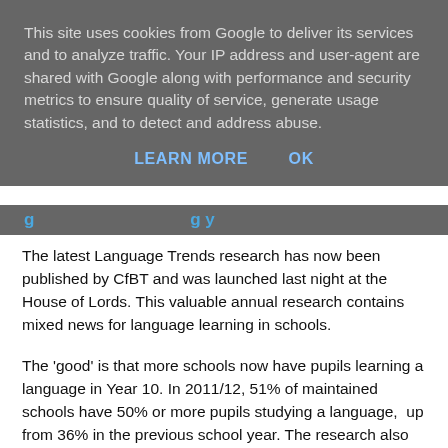This site uses cookies from Google to deliver its services and to analyze traffic. Your IP address and user-agent are shared with Google along with performance and security metrics to ensure quality of service, generate usage statistics, and to detect and address abuse.
LEARN MORE    OK
The latest Language Trends research has now been published by CfBT and was launched last night at the House of Lords. This valuable annual research contains mixed news for language learning in schools.
The 'good' is that more schools now have pupils learning a language in Year 10. In 2011/12, 51% of maintained schools have 50% or more pupils studying a language,  up from 36% in the previous school year. The research also reports that 60% of maintained schools in the middle quintile for attainment and 45% of those in the second-lowest quintile have 50% or more pupils studying a language in Year 10. This is up markedly from 23% and 19% respectively in the